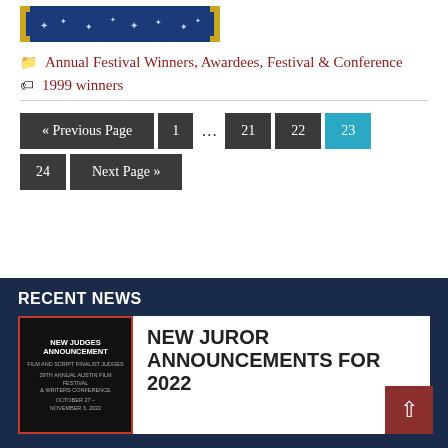[Figure (illustration): Blue and gold award ribbon/badge image at top of page]
Annual Festival Winners, Awardees, Festival & Conference
1999 winners
« Previous Page  1  ...  21  22  23  24  Next Page »
RECENT NEWS
[Figure (photo): New Judges Announcement poster for 29th Annual Austin Film Festival & Writers Conference October 27 – November 3, 2022]
NEW JUROR ANNOUNCEMENTS FOR 2022